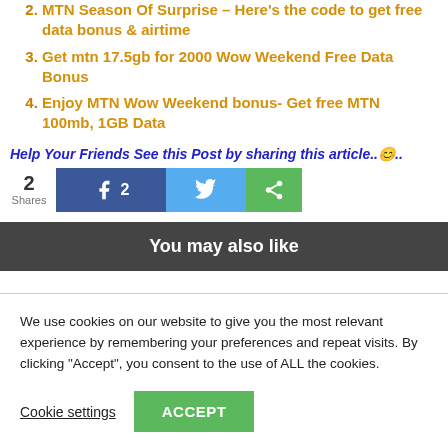MTN Season Of Surprise – Here's the code to get free data bonus & airtime
Get mtn 17.5gb for 2000 Wow Weekend Free Data Bonus
Enjoy MTN Wow Weekend bonus- Get free MTN 100mb, 1GB Data
Help Your Friends See this Post by sharing this article..😊..
2 Shares — Facebook share (2), Twitter share, Share button
You may also like
We use cookies on our website to give you the most relevant experience by remembering your preferences and repeat visits. By clicking "Accept", you consent to the use of ALL the cookies.
Cookie settings   ACCEPT